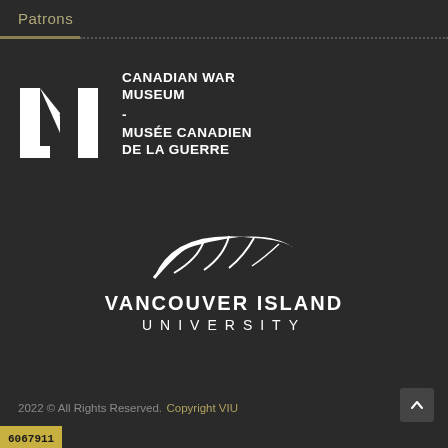Patrons
[Figure (logo): Canadian War Museum logo: white angular M-shaped figure with text 'CANADIAN WAR MUSEUM - MUSÉE CANADIEN DE LA GUERRE' in white bold capitals on dark background]
[Figure (logo): Vancouver Island University logo: white stylized leaf/feather above text 'VANCOUVER ISLAND UNIVERSITY' in white capitals on dark background]
2022 © All Rights Reserved. Copyright VIU
6067911